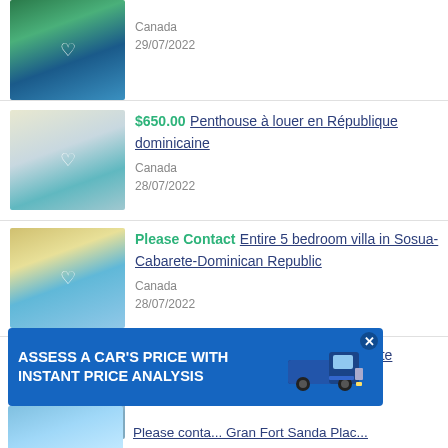[Figure (photo): Resort property with pool and palm trees]
Canada
29/07/2022
[Figure (photo): Modern penthouse with pool]
$650.00 Penthouse à louer en République dominicaine
Canada
28/07/2022
[Figure (photo): Villa with pool and blue sky]
Please Contact Entire 5 bedroom villa in Sosua-Cabarete-Dominican Republic
Canada
28/07/2022
[Figure (photo): Tropical beach scene]
$300.00 Ecolodge, Playa Dorada, retraite tropicale, location mensuelle
Canada
[Figure (photo): Advertisement banner: Assess a car's price with instant price analysis with truck image]
[Figure (photo): Partial listing image at bottom]